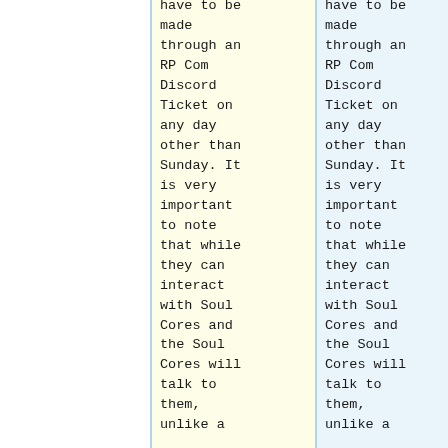have to be made through an RP Com Discord Ticket on any day other than Sunday. It is very important to note that while they can interact with Soul Cores and the Soul Cores will talk to them, unlike a
have to be made through an RP Com Discord Ticket on any day other than Sunday. It is very important to note that while they can interact with Soul Cores and the Soul Cores will talk to them, unlike a